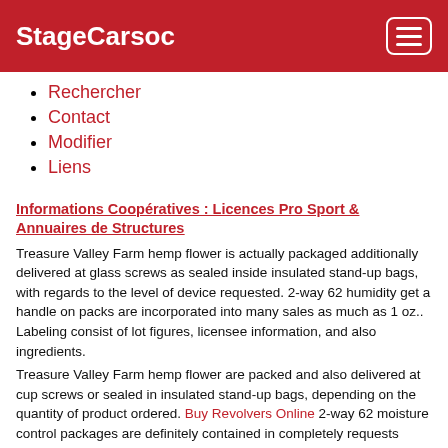StageCarsoc
Rechercher
Contact
Modifier
Liens
Informations Coopératives : Licences Pro Sport & Annuaires de Structures
Treasure Valley Farm hemp flower is actually packaged additionally delivered at glass screws as sealed inside insulated stand-up bags, with regards to the level of device requested. 2-way 62 humidity get a handle on packs are incorporated into many sales as much as 1 oz.. Labeling consist of lot figures, licensee information, and also ingredients.
Treasure Valley Farm hemp flower are packed and also delivered at cup screws or sealed in insulated stand-up bags, depending on the quantity of product ordered. Buy Revolvers Online 2-way 62 moisture control packages are definitely contained in completely requests around one ounce. Labeling incorporate great deal figures, licensee facts, furthermore components.